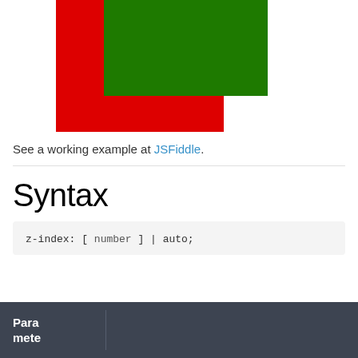[Figure (illustration): Two overlapping rectangles demonstrating CSS z-index. A red rectangle partially behind a green rectangle, showing layering behavior.]
See a working example at JSFiddle.
Syntax
| Parameters |  |
| --- | --- |